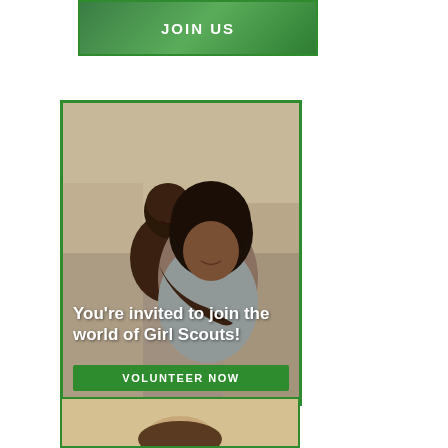[Figure (photo): Partial top banner with green background and 'JOIN US' text in white bold letters, green border]
[Figure (photo): Main Girl Scouts recruitment banner with photo of two Black women smiling and hugging, overlaid text reading 'You’re invited to join the world of Girl Scouts!' and a green 'VOLUNTEER NOW' button at the bottom, green border frame]
[Figure (photo): Partial bottom banner showing top of a person's head, green border]